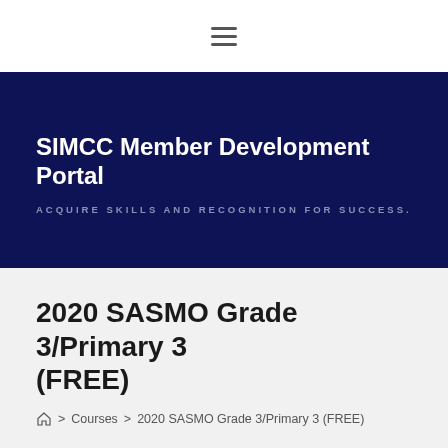≡ (hamburger menu icon)
SIMCC Member Development Portal
ACQUIRE SKILLS AND RECOGNITION FOR SUCCESS.
2020 SASMO Grade 3/Primary 3 (FREE)
🏠 > Courses > 2020 SASMO Grade 3/Primary 3 (FREE)